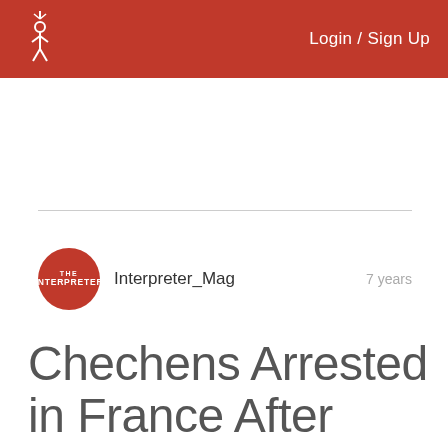Login / Sign Up
Interpreter_Mag   7 years
Chechens Arrested in France After Charlie Hebdo Bombing Released, Following Police